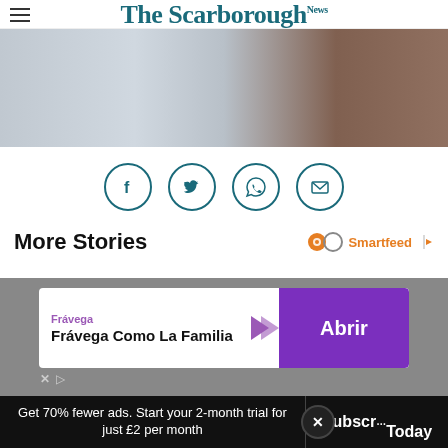The Scarborough News
[Figure (photo): Close-up photo of white salt or powder being processed on a conveyor or tray, with a wooden box visible on the right edge.]
[Figure (infographic): Row of four circular social sharing icons: Facebook, Twitter, WhatsApp, and Email, in teal/dark-cyan color.]
More Stories
[Figure (infographic): Smartfeed logo with infinity-like icon in orange and teal, text reads 'Smartfeed' in orange with a play arrow icon.]
[Figure (infographic): Advertisement banner for Frávega with text 'Frávega Como La Familia' and a purple 'Abrir' button.]
Get 70% fewer ads. Start your 2-month trial for just £2 per month
Subscribe Today